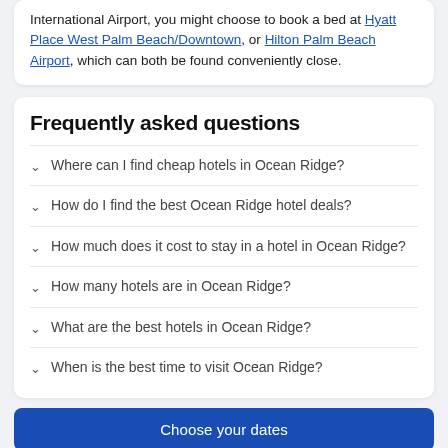International Airport, you might choose to book a bed at Hyatt Place West Palm Beach/Downtown, or Hilton Palm Beach Airport, which can both be found conveniently close.
Frequently asked questions
Where can I find cheap hotels in Ocean Ridge?
How do I find the best Ocean Ridge hotel deals?
How much does it cost to stay in a hotel in Ocean Ridge?
How many hotels are in Ocean Ridge?
What are the best hotels in Ocean Ridge?
When is the best time to visit Ocean Ridge?
Choose your dates